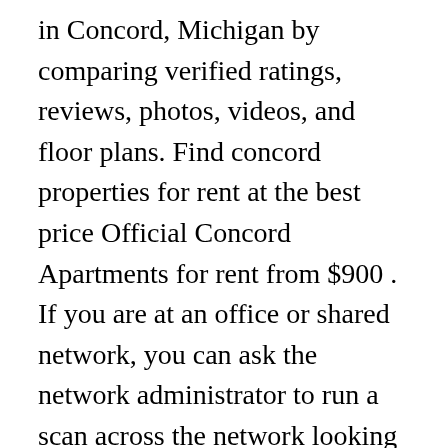in Concord, Michigan by comparing verified ratings, reviews, photos, videos, and floor plans. Find concord properties for rent at the best price Official Concord Apartments for rent from $900 . If you are at an office or shared network, you can ask the network administrator to run a scan across the network looking for misconfigured or infected devices. You may need to download version 2.0 now from the Chrome Web Store. Compare rentals, see map views and save your favorite apartments. 2 bds; 1 ba; 1,000 sqft; 8 days ago (undisclosed Address), Parma, MI 49269. Concord MI Apartments For Rent. 9 house rental listings are currently available. Whether